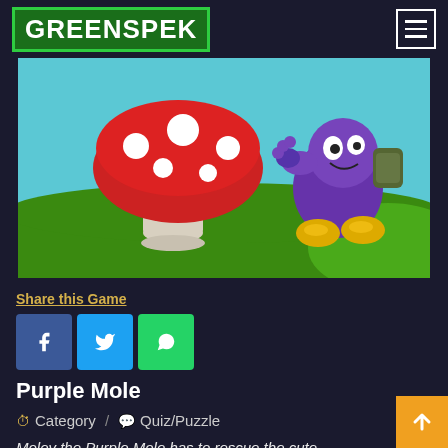[Figure (logo): GREENSPEK logo in white bold text on dark green background with green border]
[Figure (illustration): Game artwork showing a large red mushroom with white spots and a purple mole character wearing yellow boots on a green grassy background]
Share this Game
[Figure (infographic): Social share buttons: Facebook (blue), Twitter (blue), WhatsApp (green)]
Purple Mole
Category  /  Quiz/Puzzle
Moley the Purple Mole has to rescue the cute princess and your task in this cute platform